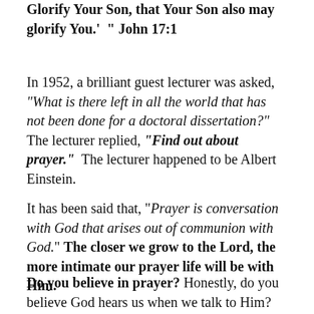Glorify Your Son, that Your Son also may glorify You.' ” John 17:1
In 1952, a brilliant guest lecturer was asked, “What is there left in all the world that has not been done for a doctoral dissertation?” The lecturer replied, “Find out about prayer.” The lecturer happened to be Albert Einstein.
It has been said that, “Prayer is conversation with God that arises out of communion with God.” The closer we grow to the Lord, the more intimate our prayer life will be with Him.
Do you believe in prayer? Honestly, do you believe God hears us when we talk to Him? Can He be trusted with our deepest longings and